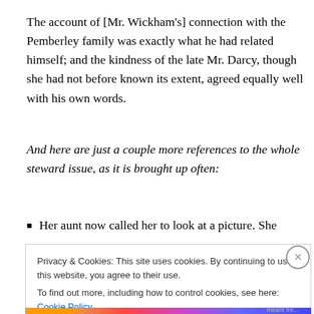The account of [Mr. Wickham's] connection with the Pemberley family was exactly what he had related himself; and the kindness of the late Mr. Darcy, though she had not before known its extent, agreed equally well with his own words.
And here are just a couple more references to the whole steward issue, as it is brought up often:
Her aunt now called her to look at a picture. She
Privacy & Cookies: This site uses cookies. By continuing to use this website, you agree to their use.
To find out more, including how to control cookies, see here: Cookie Policy
Close and accept